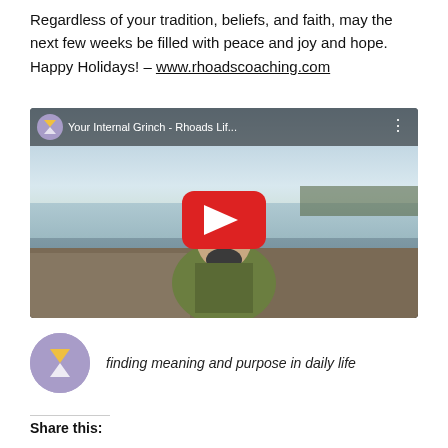Regardless of your tradition, beliefs, and faith, may the next few weeks be filled with peace and joy and hope. Happy Holidays! – www.rhoadscoaching.com
[Figure (screenshot): YouTube video thumbnail showing a man in a green fleece jacket outdoors near a lake with a red play button overlay. Title bar reads: Your Internal Grinch - Rhoads Lif...]
[Figure (logo): Rhoads Life Coaching channel icon (purple circle with yellow/white hourglass/triangle symbol) next to italic tagline: finding meaning and purpose in daily life]
Share this: